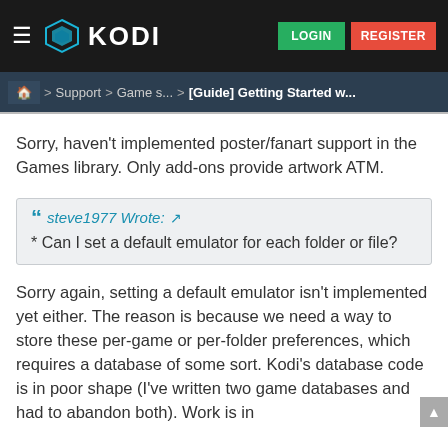KODI — LOGIN | REGISTER
Home > Support > Game s... > [Guide] Getting Started w...
Sorry, haven't implemented poster/fanart support in the Games library. Only add-ons provide artwork ATM.
steve1977 Wrote: * Can I set a default emulator for each folder or file?
Sorry again, setting a default emulator isn't implemented yet either. The reason is because we need a way to store these per-game or per-folder preferences, which requires a database of some sort. Kodi's database code is in poor shape (I've written two game databases and had to abandon both). Work is in